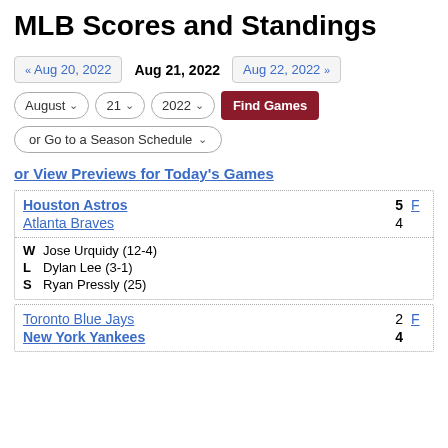MLB Scores and Standings
« Aug 20, 2022   Aug 21, 2022   Aug 22, 2022 »
August   21   2022   Find Games
or Go to a Season Schedule
or View Previews for Today's Games
| Team | Score |  |
| --- | --- | --- |
| Houston Astros | 5 | F |
| Atlanta Braves | 4 |  |
| W Jose Urquidy (12-4) |  |  |
| L Dylan Lee (3-1) |  |  |
| S Ryan Pressly (25) |  |  |
| Team | Score |  |
| --- | --- | --- |
| Toronto Blue Jays | 2 | F |
| New York Yankees | 4 |  |